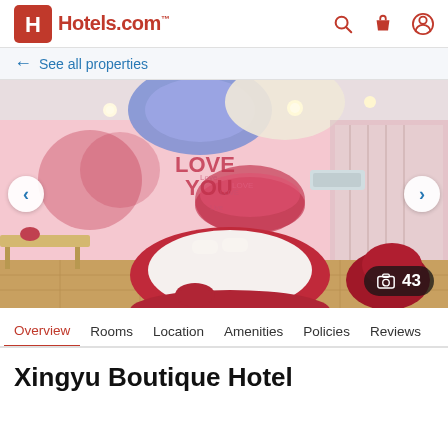Hotels.com
← See all properties
[Figure (photo): Hotel room interior with romantic theme: round red bed, pink/red heart-shaped mural on wall with 'LOVE YOU' text, blue-lit circular ceiling detail, a red sofa chair on right, wooden desk on left. Photo count badge showing 43.]
Overview  Rooms  Location  Amenities  Policies  Reviews
Xingyu Boutique Hotel